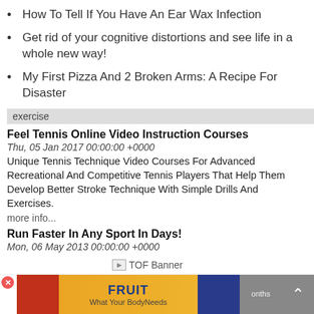How To Tell If You Have An Ear Wax Infection
Get rid of your cognitive distortions and see life in a whole new way!
My First Pizza And 2 Broken Arms: A Recipe For Disaster
exercise
Feel Tennis Online Video Instruction Courses
Thu, 05 Jan 2017 00:00:00 +0000
Unique Tennis Technique Video Courses For Advanced Recreational And Competitive Tennis Players That Help Them Develop Better Stroke Technique With Simple Drills And Exercises.
more info...
Run Faster In Any Sport In Days!
Mon, 06 May 2013 00:00:00 +0000
45%. Revolutionary Exercises Condition Muscles & Dramatically Increase Running Speed In 2 Weeks. 15 Minutes A Day, 4 Days A Week To See Dramatic Results. Used In Nfl, College, High School, Yo
more info...
[Figure (infographic): TOF Banner advertisement placeholder image]
[Figure (infographic): FRUIT What Your BodyNeeds advertisement banner with strawberry and blueberry images]